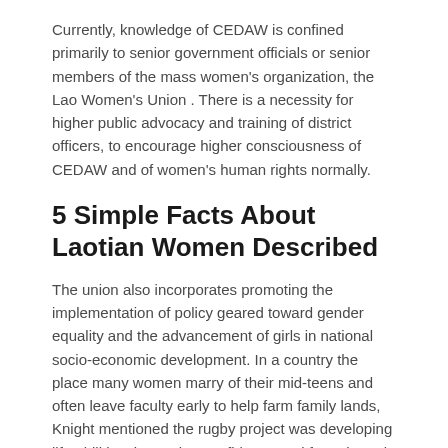Currently, knowledge of CEDAW is confined primarily to senior government officials or senior members of the mass women's organization, the Lao Women's Union . There is a necessity for higher public advocacy and training of district officers, to encourage higher consciousness of CEDAW and of women's human rights normally.
5 Simple Facts About Laotian Women Described
The union also incorporates promoting the implementation of policy geared toward gender equality and the advancement of girls in national socio-economic development. In a country the place many women marry of their mid-teens and often leave faculty early to help farm family lands, Knight mentioned the rugby project was developing life abilities, improving confidence and fostering role